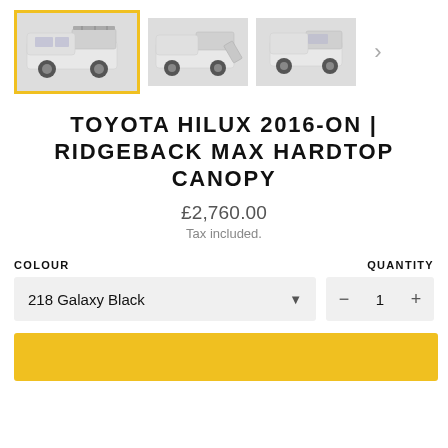[Figure (photo): Three thumbnail images of a white Toyota Hilux with Ridgeback Max Hardtop Canopy. First image is selected with a yellow border, showing rear/side view. Second shows rear open view. Third shows rear 3/4 view. Navigation arrow on right.]
TOYOTA HILUX 2016-ON | RIDGEBACK MAX HARDTOP CANOPY
£2,760.00
Tax included.
COLOUR
QUANTITY
218 Galaxy Black
1